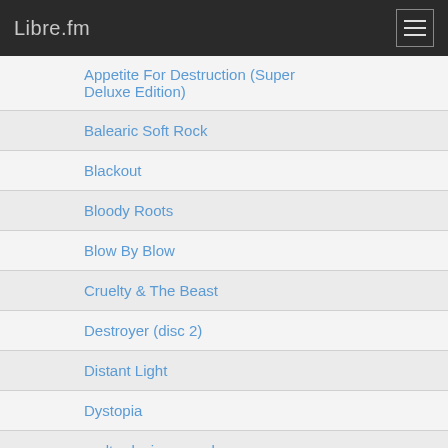Libre.fm
Appetite For Destruction (Super Deluxe Edition)
Balearic Soft Rock
Blackout
Bloody Roots
Blow By Blow
Cruelty & The Beast
Destroyer (disc 2)
Distant Light
Dystopia
endtroducing sample sources
Existence Is Futile
Extinct